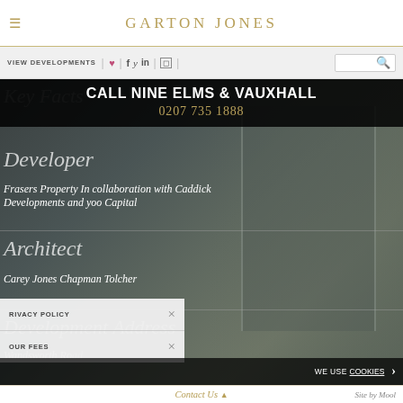GARTON JONES
[Figure (screenshot): Navigation bar with VIEW DEVELOPMENTS link, social media icons (heart, Facebook, Twitter, LinkedIn, Instagram), and search box]
[Figure (screenshot): Dark banner overlay with text CALL NINE ELMS & VAUXHALL and phone number 0207 735 1888]
Developer
Frasers Property In collaboration with Caddick Developments and yoo Capital
Architect
Carey Jones Chapman Tolcher
Development Address
Wandsworth Road
[Figure (screenshot): Privacy policy overlay popup with two rows: PRIVACY POLICY with X close button, and OUR FEES with X close button]
[Figure (screenshot): Cookie consent bar with WE USE COOKIES text and arrow button]
Contact Us | Site by Moo